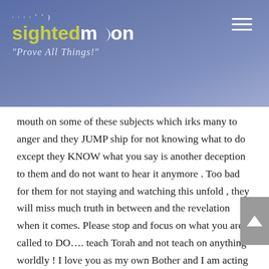[Figure (logo): Sighted Moon website logo with moon phase icons, wordmark 'sightedmoon' in yellow-green and white, tagline 'Prove All Things!' in italic, hamburger menu icon on the right, on a blue-grey gradient header background.]
mouth on some of these subjects which irks many to anger and they JUMP ship for not knowing what to do except they KNOW what you say is another deception to them and do not want to hear it anymore . Too bad for them for not staying and watching this unfold , they will miss much truth in between and the revelation when it comes. Please stop and focus on what you are called to DO…. teach Torah and not teach on anything worldly ! I love you as my own Bother and I am acting right now as in Matthew 18:15 ! Please hear me and others who